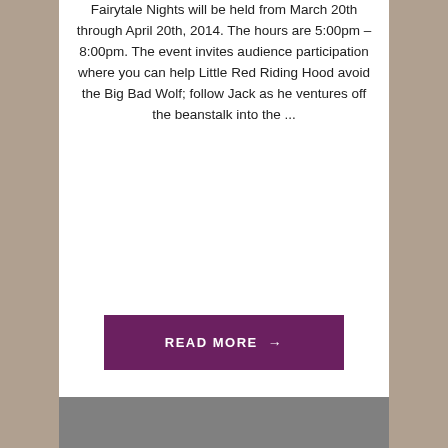Fairytale Nights will be held from March 20th through April 20th, 2014. The hours are 5:00pm – 8:00pm. The event invites audience participation where you can help Little Red Riding Hood avoid the Big Bad Wolf; follow Jack as he ventures off the beanstalk into the ...
READ MORE →
[Figure (photo): A gray placeholder image block]